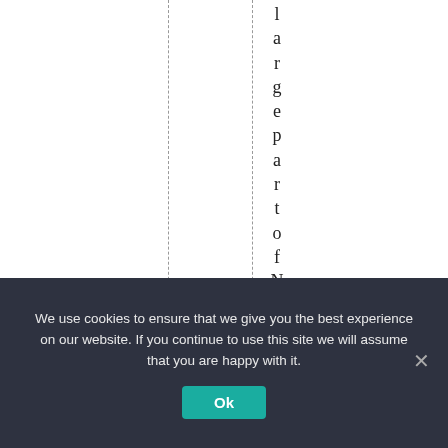l a r g e p a r t o f N o r t h A m
We use cookies to ensure that we give you the best experience on our website. If you continue to use this site we will assume that you are happy with it. Ok